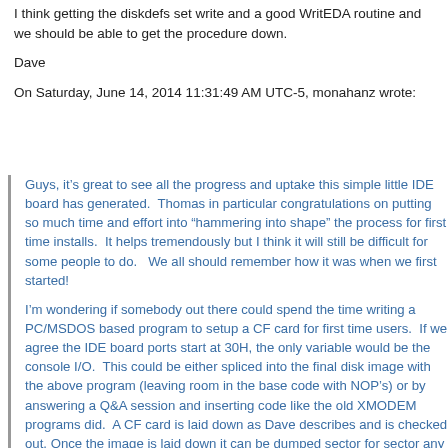I think getting the diskdefs set write and a good WritEDA routine and we should be able to get the procedure down.
Dave
On Saturday, June 14, 2014 11:31:49 AM UTC-5, monahanz wrote:
Guys, it's great to see all the progress and uptake this simple little IDE board has generated.  Thomas in particular congratulations on putting so much time and effort into "hammering into shape" the process for first time installs.  It helps tremendously but I think it will still be difficult for some people to do.   We all should remember how it was when we first started!
I'm wondering if somebody out there could spend the time writing a PC/MSDOS based program to setup a CF card for first time users.  If we agree the IDE board ports start at 30H, the only variable would be the console I/O.  This could be either spliced into the final disk image with the above program (leaving room in the base code with NOP's) or by answering a Q&A session and inserting code like the old XMODEM programs did.  A CF card is laid down as Dave describes and is checked out. Once the image is laid down it can be dumped sector for sector any  CF card (no holes of course).  The image can even include a few CPM programs.  Probably best to start with a non-banked CPM3 image.  This program would run on a standard PC, format the CF card and write the image sector by sector.  Not sure if Windows